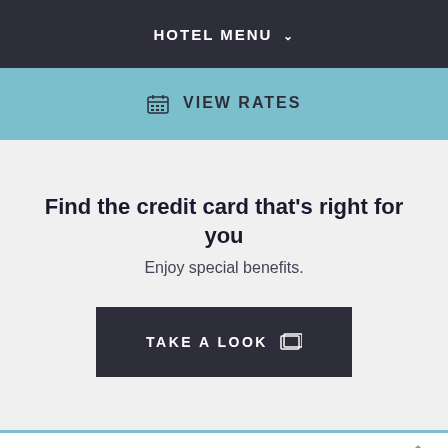HOTEL MENU
VIEW RATES
Find the credit card that's right for you
Enjoy special benefits.
TAKE A LOOK
KEY AMENITIES